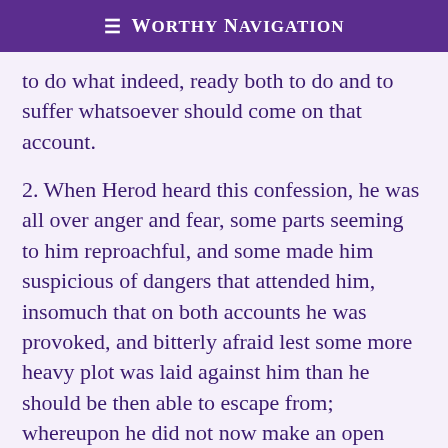≡ Worthy Navigation
to do what indeed, ready both to do and to suffer whatsoever should come on that account.
2. When Herod heard this confession, he was all over anger and fear, some parts seeming to him reproachful, and some made him suspicious of dangers that attended him, insomuch that on both accounts he was provoked, and bitterly afraid lest some more heavy plot was laid against him than he should be then able to escape from; whereupon he did not now make an open search, but sent about spies to watch such as he suspected, for he was now overrun with suspicion and hatred against all about him; and indulging abundance of those suspicions, in order to his preservation, he continued to suspect those that were